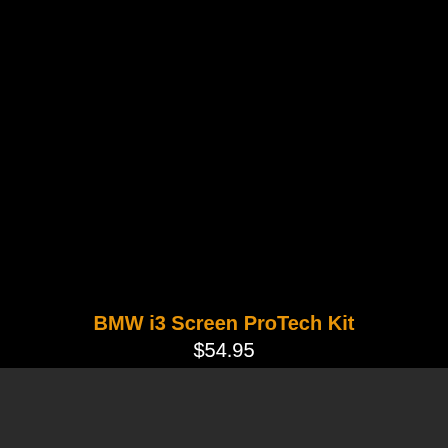[Figure (photo): Dark/black background product image area for BMW i3 Screen ProTech Kit]
BMW i3 Screen ProTech Kit
$54.95